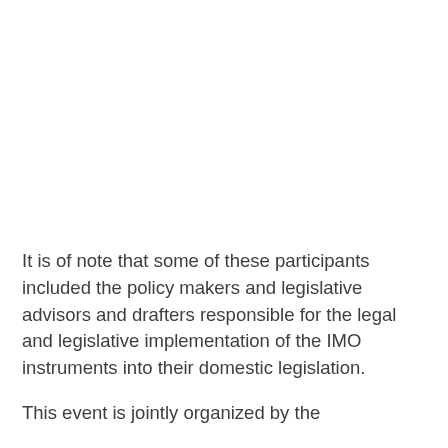It is of note that some of these participants included the policy makers and legislative advisors and drafters responsible for the legal and legislative implementation of the IMO instruments into their domestic legislation.
This event is jointly organized by the